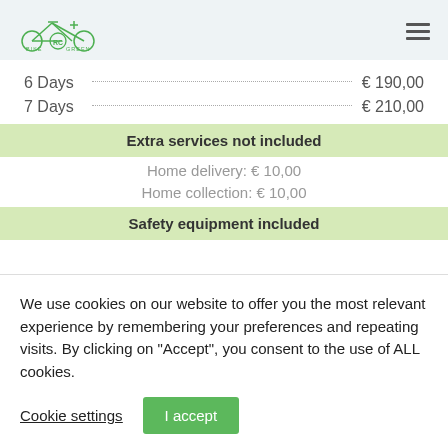Bike RC Green logo and navigation menu
6 Days € 190,00
7 Days € 210,00
Extra services not included
Home delivery: € 10,00
Home collection: € 10,00
Safety equipment included
We use cookies on our website to offer you the most relevant experience by remembering your preferences and repeating visits. By clicking on "Accept", you consent to the use of ALL cookies.
Cookie settings
I accept